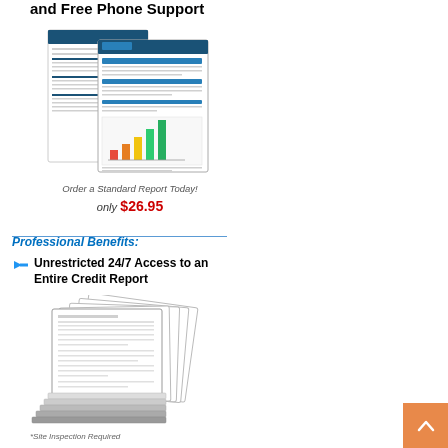and Free Phone Support
[Figure (illustration): Two overlapping credit report documents showing tables and a colored bar chart]
Order a Standard Report Today!
only $26.95
Professional Benefits:
Unrestricted 24/7 Access to an Entire Credit Report
[Figure (illustration): Stack of multiple credit report pages fanned out]
*Site Inspection Required